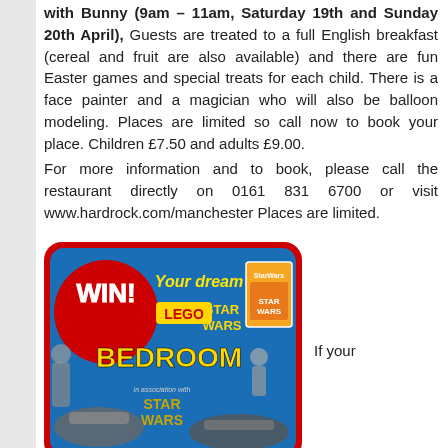with Bunny (9am – 11am, Saturday 19th and Sunday 20th April), Guests are treated to a full English breakfast (cereal and fruit are also available) and there are fun Easter games and special treats for each child. There is a face painter and a magician who will also be balloon modeling. Places are limited so call now to book your place. Children £7.50 and adults £9.00.
For more information and to book, please call the restaurant directly on 0161 831 6700 or visit www.hardrock.com/manchester Places are limited.
[Figure (illustration): WIN! Your dream LEGO Star Wars BEDROOM advertisement image with Lego Star Wars minifigures, spaceships, and a Star Wars Comic magazine cover]
If your
child is creative and loves Lego Star Wars then the Star Wars Comic has a great competition this month. Kids need to design an Lego Star Wars bedroom, and the winner will have it designed and built for